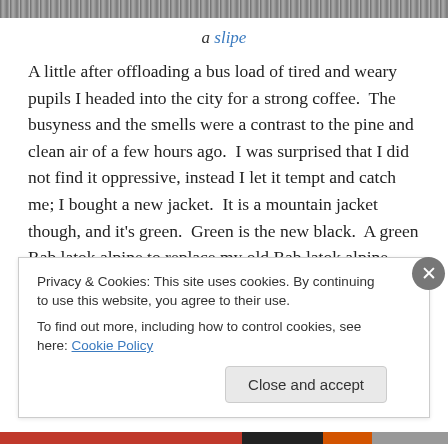[Figure (photo): Grayscale photograph strip at the top of the page]
a slipe
A little after offloading a bus load of tired and weary pupils I headed into the city for a strong coffee.  The busyness and the smells were a contrast to the pine and clean air of a few hours ago.  I was surprised that I did not find it oppressive, instead I let it tempt and catch me; I bought a new jacket.  It is a mountain jacket though, and it's green.  Green is the new black.  A green Rab latok alpine to replace my old Rab latok alpine which is…..eh, black!
Privacy & Cookies: This site uses cookies. By continuing to use this website, you agree to their use.
To find out more, including how to control cookies, see here: Cookie Policy